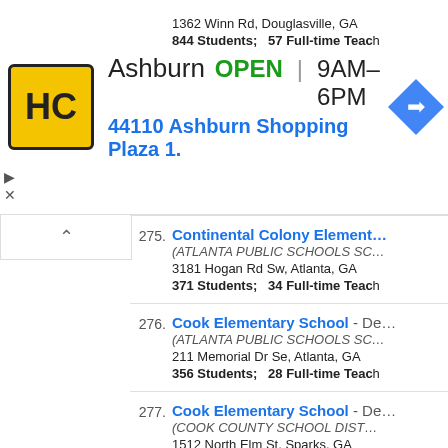[Figure (screenshot): Ad banner for Ashburn HC store showing logo, OPEN status, hours 9AM-6PM, address 44110 Ashburn Shopping Plaza 1., and navigation icon]
1362 Winn Rd, Douglasville, GA
844 Students; 57 Full-time Teach
275. Continental Colony Element... (ATLANTA PUBLIC SCHOOLS SC... 3181 Hogan Rd Sw, Atlanta, GA 371 Students; 34 Full-time Teach
276. Cook Elementary School - De... (ATLANTA PUBLIC SCHOOLS SC... 211 Memorial Dr Se, Atlanta, GA 356 Students; 28 Full-time Teach
277. Cook Elementary School - De... (COOK COUNTY SCHOOL DIST... 1512 North Elm St, Sparks, GA 755 Students; 47 Full-time Teach